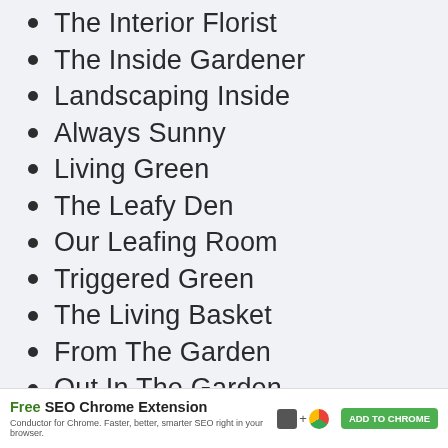The Interior Florist
The Inside Gardener
Landscaping Inside
Always Sunny
Living Green
The Leafy Den
Our Leafing Room
Triggered Green
The Living Basket
From The Garden
Out In The Garden
Backyard Garden
The Gardener's Den
Free SEO Chrome Extension — Conductor for Chrome. Faster, better, smarter SEO right in your browser. ADD TO CHROME